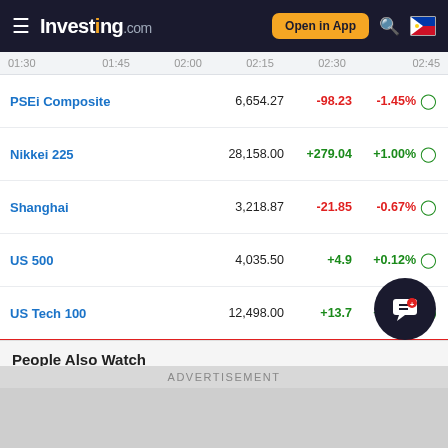Investing.com
|  | 01:30 | 01:45 | 02:00 | 02:15 | 02:30 | 02:45 |
| --- | --- | --- | --- | --- | --- | --- |
| PSEi Composite | 6,654.27 | -98.23 | -1.45% |
| Nikkei 225 | 28,158.00 | +279.04 | +1.00% |
| Shanghai | 3,218.87 | -21.85 | -0.67% |
| US 500 | 4,035.50 | +4.9 | +0.12% |
| US Tech 100 | 12,498.00 | +13.7 | +0.11% |
| DAX | 12,892.99 | -78.48 | -0.61% |
| Dollar Index | 108.79 | 0.000 | 0.00% |
People Also Watch
| Name | Price | Chg. |
| --- | --- | --- |